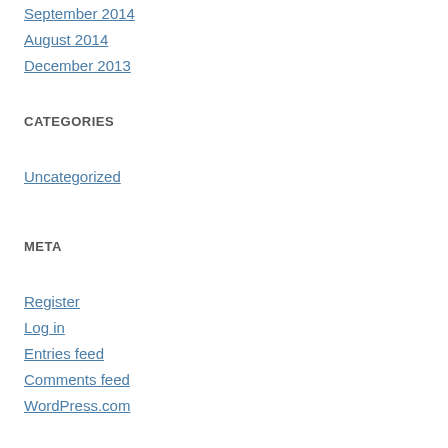September 2014
August 2014
December 2013
CATEGORIES
Uncategorized
META
Register
Log in
Entries feed
Comments feed
WordPress.com